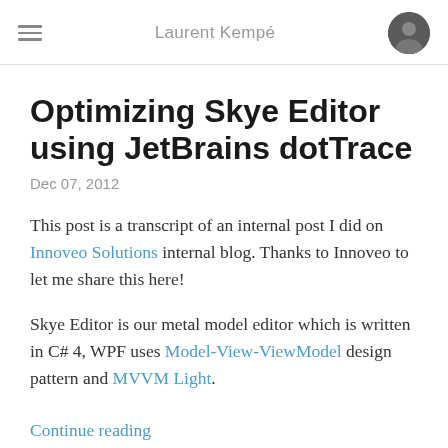Laurent Kempé
Optimizing Skye Editor using JetBrains dotTrace
Dec 07, 2012
This post is a transcript of an internal post I did on Innoveo Solutions internal blog. Thanks to Innoveo to let me share this here!
Skye Editor is our metal model editor which is written in C# 4, WPF uses Model-View-ViewModel design pattern and MVVM Light.
Continue reading